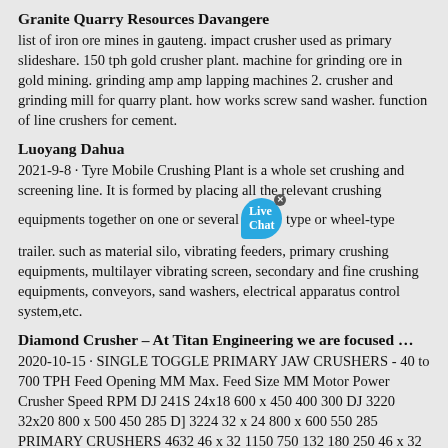Granite Quarry Resources Davangere
list of iron ore mines in gauteng. impact crusher used as primary slideshare. 150 tph gold crusher plant. machine for grinding ore in gold mining. grinding amp amp lapping machines 2. crusher and grinding mill for quarry plant. how works screw sand washer. function of line crushers for cement.
Luoyang Dahua
2021-9-8 · Tyre Mobile Crushing Plant is a whole set crushing and screening line. It is formed by placing all the relevant crushing equipments together on one or several type or wheel-type trailer. such as material silo, vibrating feeders, primary crushing equipments, multilayer vibrating screen, secondary and fine crushing equipments, conveyors, sand washers, electrical apparatus control system,etc.
Diamond Crusher – At Titan Engineering we are focused …
2020-10-15 · SINGLE TOGGLE PRIMARY JAW CRUSHERS - 40 to 700 TPH Feed Opening MM Max. Feed Size MM Motor Power Crusher Speed RPM DJ 241S 24x18 600 x 450 400 300 DJ 3220 32x20 800 x 500 450 285 DJ 3224 32 x 24 800 x 600 550 285 PRIMARY CRUSHERS 4632 46 x 32 1150 750 132 180 250 46 x 32 DJ 5234 52 34 1300x 850 800 160 215 250 52 x 34 280-300 300-350 350-400
Crushing equipment for aggregates, ARJA
CRUSHING AND SCREENING SOLUTIONS. Top